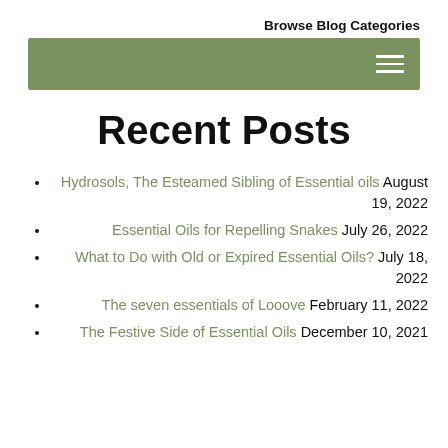Browse Blog Categories
[Figure (other): Olive green navigation bar with hamburger menu icon on the right]
Recent Posts
Hydrosols, The Esteamed Sibling of Essential oils August 19, 2022
Essential Oils for Repelling Snakes July 26, 2022
What to Do with Old or Expired Essential Oils? July 18, 2022
The seven essentials of Looove February 11, 2022
The Festive Side of Essential Oils December 10, 2021